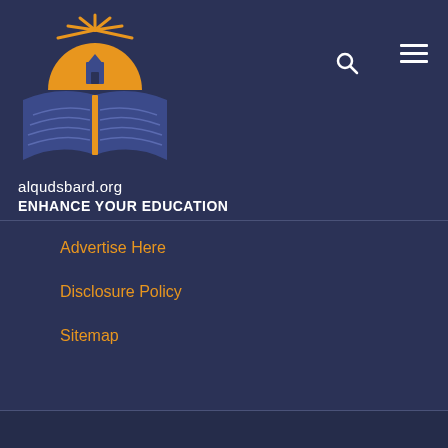[Figure (logo): alqudsbard.org logo: sun/book design with orange sun rays and blue/purple book pages, with a small building/mosque icon]
alqudsbard.org
ENHANCE YOUR EDUCATION
Advertise Here
Disclosure Policy
Sitemap
SUPPORT LINKS
RECOMMENDED LINKS